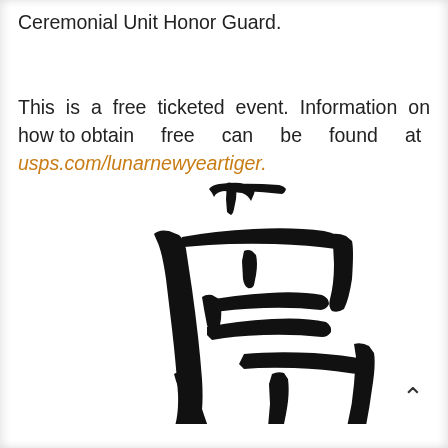Ceremonial Unit Honor Guard.

This is a free ticketed event. Information on how to obtain free can be found at usps.com/lunarnewyeartiger.
[Figure (illustration): Large Chinese calligraphy character 虎 (tiger) rendered in bold black brush strokes on white background]